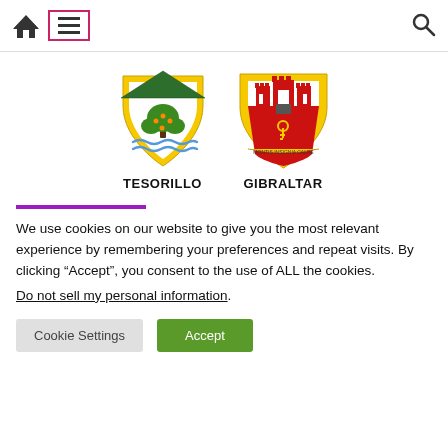Navigation bar with home icon, menu button, and search icon
[Figure (logo): Tesorillo coat of arms: green triangular roof with white below showing an orange tree and wavy blue lines at bottom, bordered in yellow]
[Figure (logo): Gibraltar coat of arms: castle with three towers in red on red background with a golden key, yellow border, banner reading MONTIS INSIGNIA CALPE]
TESORILLO   GIBRALTAR
We use cookies on our website to give you the most relevant experience by remembering your preferences and repeat visits. By clicking “Accept”, you consent to the use of ALL the cookies.
Do not sell my personal information.